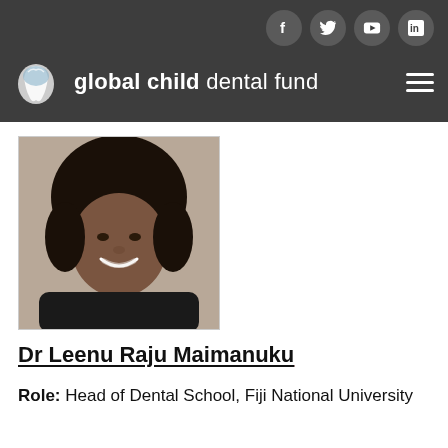global child dental fund
[Figure (photo): Headshot photo of Dr Leenu Raju Maimanuku, a woman with dark curly hair, smiling, wearing a dark jacket, against a neutral background.]
Dr Leenu Raju Maimanuku
Role:  Head of Dental School, Fiji National University